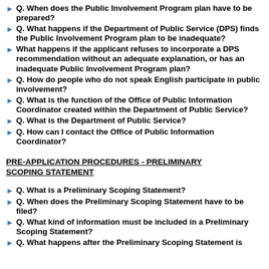Q. When does the Public Involvement Program plan have to be prepared?
Q. What happens if the Department of Public Service (DPS) finds the Public Involvement Program plan to be inadequate?
What happens if the applicant refuses to incorporate a DPS recommendation without an adequate explanation, or has an inadequate Public Involvement Program plan?
Q. How do people who do not speak English participate in public involvement?
Q. What is the function of the Office of Public Information Coordinator created within the Department of Public Service?
Q. What is the Department of Public Service?
Q. How can I contact the Office of Public Information Coordinator?
PRE-APPLICATION PROCEDURES - PRELIMINARY SCOPING STATEMENT
Q. What is a Preliminary Scoping Statement?
Q. When does the Preliminary Scoping Statement have to be filed?
Q. What kind of information must be included in a Preliminary Scoping Statement?
Q. What happens after the Preliminary Scoping Statement is